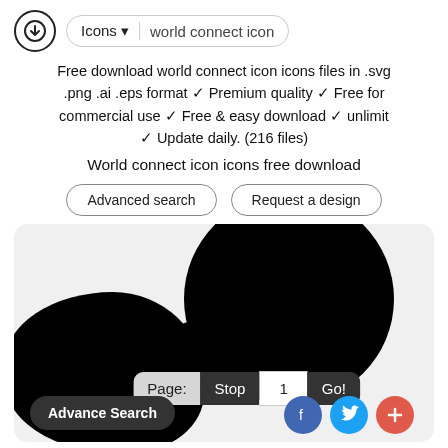Icons ▼   world connect icon
Free download world connect icon icons files in .svg .png .ai .eps format ✓ Premium quality ✓ Free for commercial use ✓ Free & easy download ✓ unlimit ✓ Update daily. (216 files)
World connect icon icons free download
Advanced search   Request a design
[Figure (screenshot): Preview of world connect icon — large black circular globe shape with connector stem, pagination bar showing Page: Stop 1 Go!, Advance Search button, and social share icons (Facebook, Twitter, plus).]